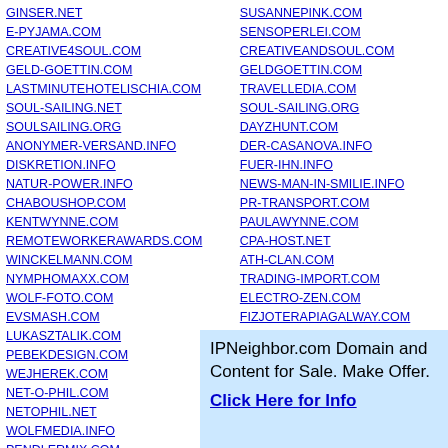GINSER.NET
E-PYJAMA.COM
CREATIVE4SOUL.COM
GELD-GOETTIN.COM
LASTMINUTEHOTELISCHIA.COM
SOUL-SAILING.NET
SOULSAILING.ORG
ANONYMER-VERSAND.INFO
DISKRETION.INFO
NATUR-POWER.INFO
CHABOUSHOP.COM
KENTWYNNE.COM
REMOTEWORKERAWARDS.COM
WINCKELMANN.COM
NYMPHOMAXX.COM
WOLF-FOTO.COM
EVSMASH.COM
LUKASZTALIK.COM
PEBEKDESIGN.COM
WEJHEREK.COM
NET-O-PHIL.COM
NETOPHIL.NET
WOLFMEDIA.INFO
PENDLERMIX.COM
GUTHUNGENBACH.COM
RINGIDEE.NET
INTERNATIONAL-PHONE-DIRECTORY...
APPCLICK.NET
SUSANNEPINK.COM
SENSOPERLEI.COM
CREATIVEANDSOUL.COM
GELDGOETTIN.COM
TRAVELLEDIA.COM
SOUL-SAILING.ORG
DAYZHUNT.COM
DER-CASANOVA.INFO
FUER-IHN.INFO
NEWS-MAN-IN-SMILIE.INFO
PR-TRANSPORT.COM
PAULAWYNNE.COM
CPA-HOST.NET
ATH-CLAN.COM
TRADING-IMPORT.COM
ELECTRO-ZEN.COM
FIZJOTERAPIAGALWAY.COM
MAR-KAR.COM
SKRZATKOWO.COM
WFMC-POLSKA.ORG
NET-O-PHIL.NET
HOERSAAL-REVIVAL.COM
CANADA-TRAVELING.COM
SWITZERLAND-TRAVELING.COM
IPNeighbor.com Domain and Content for Sale. Make Offer. Click Here for Info